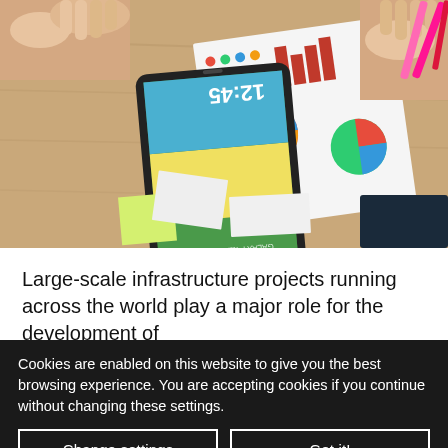[Figure (photo): Overhead view of a desk with a Samsung Galaxy Tab showing the home screen with time 12:45, printed charts/graphs on paper including pie charts and bar charts, hands visible, sticky notes, highlighters and pens, wooden desk surface.]
Large-scale infrastructure projects running across the world play a major role for the development of
Cookies are enabled on this website to give you the best browsing experience. You are accepting cookies if you continue without changing these settings.
Change settings
Got it!